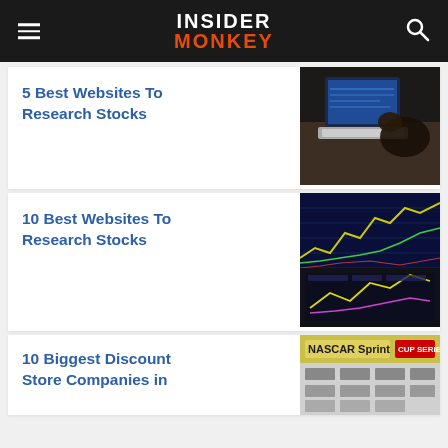INSIDER MONKEY
5 Best Websites To Research Stocks
[Figure (photo): Person working on laptop with financial data on screen, aerial view]
10 Best Websites To Research Stocks
[Figure (photo): Stock market charts on screens with trading data lines in blue and yellow]
10 Biggest Discount Store Companies in